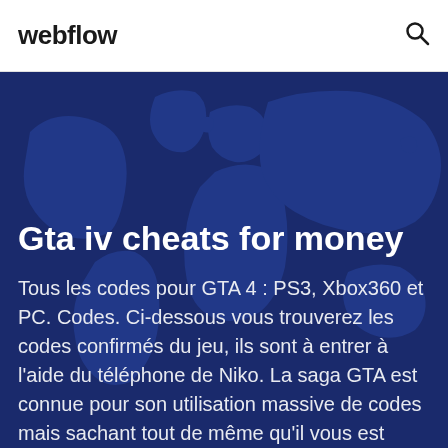webflow
Gta iv cheats for money
Tous les codes pour GTA 4 : PS3, Xbox360 et PC. Codes. Ci-dessous vous trouverez les codes confirmés du jeu, ils sont à entrer à l'aide du téléphone de Niko. La saga GTA est connue pour son utilisation massive de codes mais sachant tout de même qu'il vous est